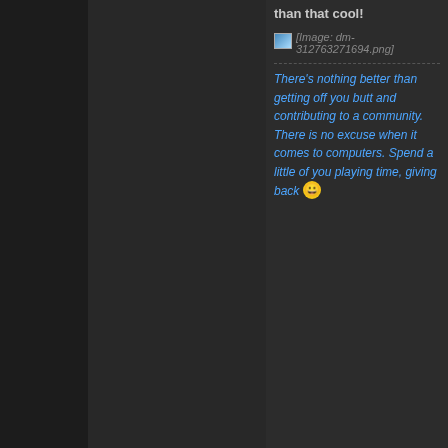than that cool!
[Figure (screenshot): Broken image placeholder showing [Image: dm-312763271694.png]]
There's nothing better than getting off you butt and contributing to a community. There is no excuse when it comes to computers. Spend a little of you playing time, giving back 😀
06-12-2010, 03:29 #4 AM
kay